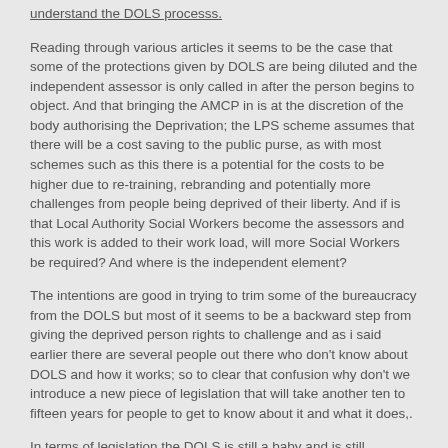understand the DOLS processs.
Reading through various articles it seems to be the case that some of the protections given by DOLS are being diluted and the independent assessor is only called in after the person begins to object. And that bringing the AMCP in is at the discretion of the body authorising the Deprivation; the LPS scheme assumes that there will be a cost saving to the public purse, as with most schemes such as this there is a potential for the costs to be higher due to re-training, rebranding and potentially more challenges from people being deprived of their liberty. And if is that Local Authority Social Workers become the assessors and this work is added to their work load, will more Social Workers be required? And where is the independent element?
The intentions are good in trying to trim some of the bureaucracy from the DOLS but most of it seems to be a backward step from giving the deprived person rights to challenge and as i said earlier there are several people out there who don’t know about DOLS and how it works; so to clear that confusion why don’t we introduce a new piece of legislation that will take another ten to fifteen years for people to get to know about it and what it does,.
In terms of legislation the DOLS is still a baby and is still growing; and one wonders what will the process be to convert people already under DOLS to the new scheme?